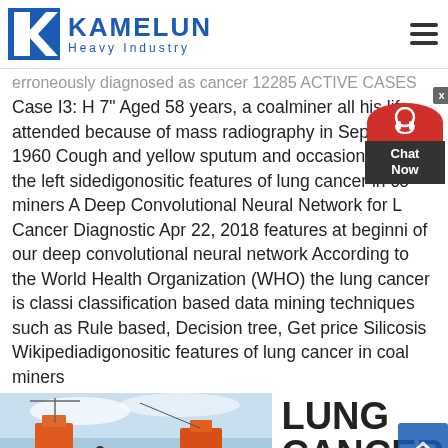KAMELUN Heavy Industry
erroneously diagnosed as cancer 12285 ACTIVE CASES Case I3: H 7" Aged 58 years, a coalminer all his life, attended because of mass radiography in September 1960 Cough and yellow sputum and occasional pain the left sidedigonositic features of lung cancer in coal miners A Deep Convolutional Neural Network for Lung Cancer Diagnostic Apr 22, 2018 features at beginning of our deep convolutional neural network According to the World Health Organization (WHO) the lung cancer is classi classification based data mining techniques such as Rule based, Decision tree, Get price Silicosis Wikipediadigonositic features of lung cancer in coal miners
[Figure (photo): Industrial machinery with orange equipment and blue sky background]
LUNG CANCER